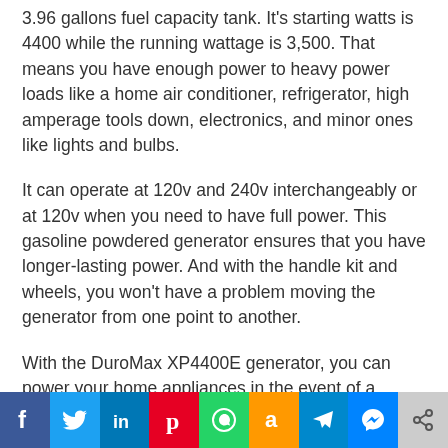3.96 gallons fuel capacity tank. It's starting watts is 4400 while the running wattage is 3,500. That means you have enough power to heavy power loads like a home air conditioner, refrigerator, high amperage tools down, electronics, and minor ones like lights and bulbs.
It can operate at 120v and 240v interchangeably or at 120v when you need to have full power. This gasoline powdered generator ensures that you have longer-lasting power. And with the handle kit and wheels, you won't have a problem moving the generator from one point to another.
With the DuroMax XP4400E generator, you can power your home appliances in the event of a power outage. If you are in the mood for some camping or other outdoor
[Figure (infographic): Social media sharing bar with icons: Facebook, Twitter, LinkedIn, Pinterest, WhatsApp, Amazon, Telegram, Messenger, Share]